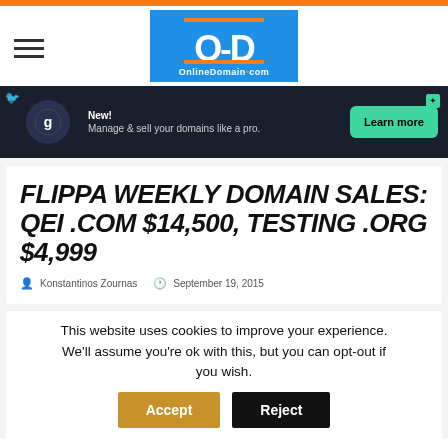[Figure (logo): OnlineDomain.com logo — blue rectangle with white OD letters and orange accent bars]
[Figure (infographic): Ad banner: dark background with Godaddy Pro icon, text 'New! Manage & sell your domains like a pro.' and green 'Learn more' button]
FLIPPA WEEKLY DOMAIN SALES: QEI .COM $14,500, TESTING .ORG $4,999
Konstantinos Zournas   September 19, 2015
This website uses cookies to improve your experience. We'll assume you're ok with this, but you can opt-out if you wish.